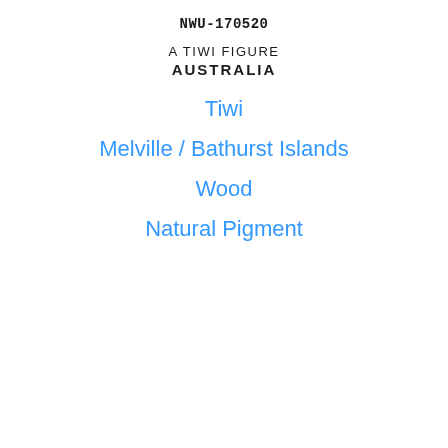NWU-170520
A TIWI FIGURE
AUSTRALIA
Tiwi
Melville / Bathurst Islands
Wood
Natural Pigment